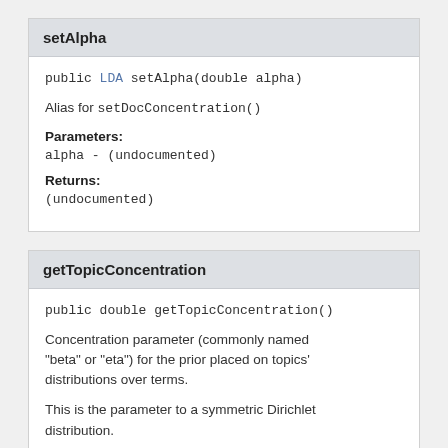setAlpha
public LDA setAlpha(double alpha)
Alias for setDocConcentration()
Parameters:
alpha - (undocumented)
Returns:
(undocumented)
getTopicConcentration
public double getTopicConcentration()
Concentration parameter (commonly named "beta" or "eta") for the prior placed on topics' distributions over terms.
This is the parameter to a symmetric Dirichlet distribution.